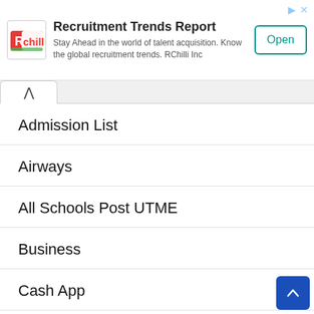[Figure (screenshot): RChilli advertisement banner with logo, title 'Recruitment Trends Report', description text, and Open button]
Admission List
Airways
All Schools Post UTME
Business
Cash App
Courses
Fee Bank